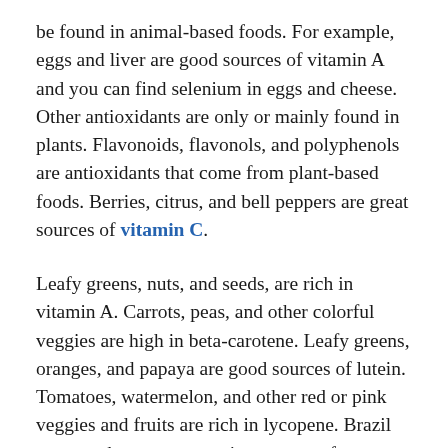be found in animal-based foods. For example, eggs and liver are good sources of vitamin A and you can find selenium in eggs and cheese. Other antioxidants are only or mainly found in plants. Flavonoids, flavonols, and polyphenols are antioxidants that come from plant-based foods. Berries, citrus, and bell peppers are great sources of vitamin C.
Leafy greens, nuts, and seeds, are rich in vitamin A. Carrots, peas, and other colorful veggies are high in beta-carotene. Leafy greens, oranges, and papaya are good sources of lutein. Tomatoes, watermelon, and other red or pink veggies and fruits are rich in lycopene. Brazil nuts are the most convenient source of selenium.
Goji berries, cacao, pomegranates, and green tea are